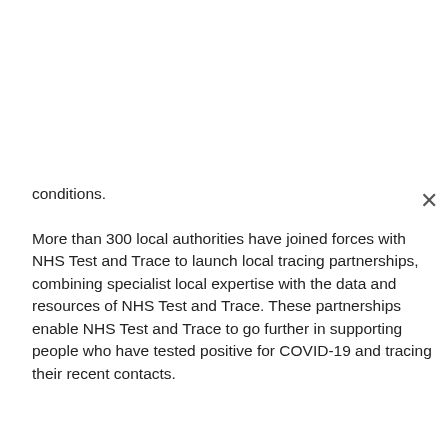conditions.
More than 300 local authorities have joined forces with NHS Test and Trace to launch local tracing partnerships, combining specialist local expertise with the data and resources of NHS Test and Trace. These partnerships enable NHS Test and Trace to go further in supporting people who have tested positive for COVID-19 and tracing their recent contacts.
Health Minister Lord Bethell said:
More people than ever before have had a COVID-19 test this week and have also received their test result quickly and conveniently despite the demands on the service. These numbers are hugely impressive and have an enormous impact on the spread of the virus.
This week NHS Test and Trace have identified 149,317 positive